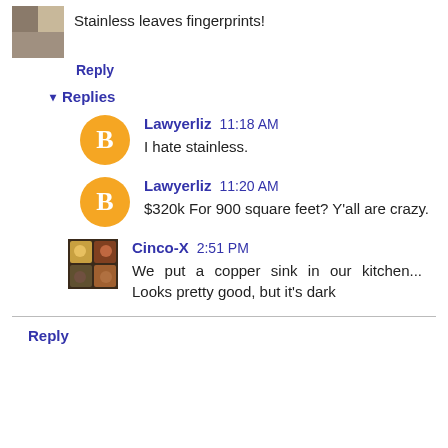Stainless leaves fingerprints!
Reply
Replies
Lawyerliz  11:18 AM
I hate stainless.
Lawyerliz  11:20 AM
$320k For 900 square feet? Y'all are crazy.
Cinco-X  2:51 PM
We put a copper sink in our kitchen... Looks pretty good, but it's dark
Reply